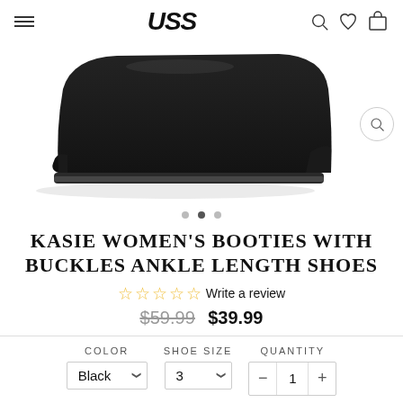USS (logo), hamburger menu, search, wishlist, cart icons
[Figure (photo): Close-up photo of a black suede ankle bootie/shoe viewed from the side, on a white background]
• • •  (page indicator dots, second dot active)
KASIE WOMEN'S BOOTIES WITH BUCKLES ANKLE LENGTH SHOES
☆☆☆☆☆ Write a review
$59.99  $39.99
COLOR: Black  SHOE SIZE: 3  QUANTITY: - 1 +